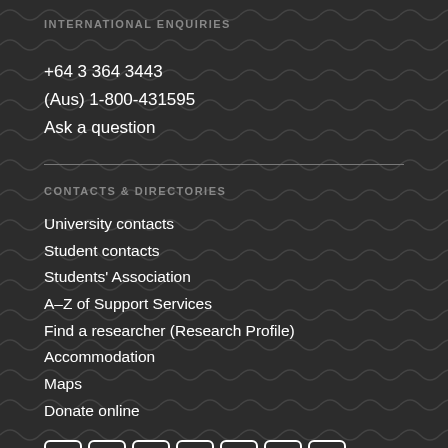INTERNATIONAL ENQUIRIES
+64 3 364 3443
(Aus) 1-800-431595
Ask a question
CONTACTS & DIRECTORIES
University contacts
Student contacts
Students' Association
A–Z of Support Services
Find a researcher (Research Profile)
Accommodation
Maps
Donate online
[Figure (other): Social media icons: Facebook, Twitter, YouTube, Instagram, Snapchat, LinkedIn, WeChat]